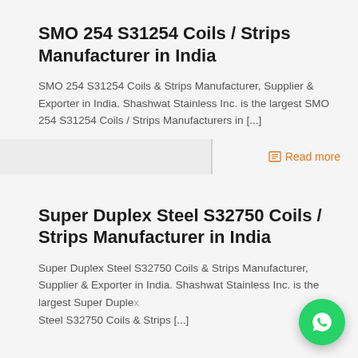SMO 254 S31254 Coils / Strips Manufacturer in India
SMO 254 S31254 Coils & Strips Manufacturer, Supplier & Exporter in India. Shashwat Stainless Inc. is the largest SMO 254 S31254 Coils / Strips Manufacturers in [...]
Read more
Super Duplex Steel S32750 Coils / Strips Manufacturer in India
Super Duplex Steel S32750 Coils & Strips Manufacturer, Supplier & Exporter in India. Shashwat Stainless Inc. is the largest Super Duplex Steel S32750 Coils & Strips [...]